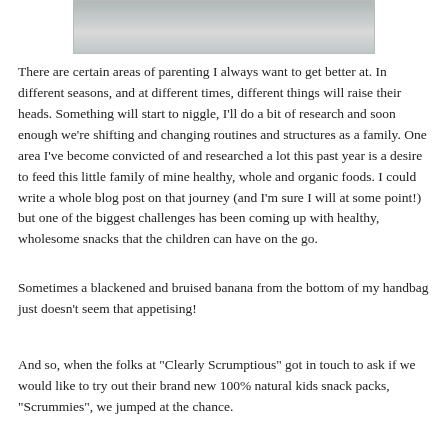[Figure (photo): Partial photo of a child or animal on a light background, cropped at the top of the page]
There are certain areas of parenting I always want to get better at. In different seasons, and at different times, different things will raise their heads. Something will start to niggle, I'll do a bit of research and soon enough we're shifting and changing routines and structures as a family. One area I've become convicted of and researched a lot this past year is a desire to feed this little family of mine healthy, whole and organic foods. I could write a whole blog post on that journey (and I'm sure I will at some point!) but one of the biggest challenges has been coming up with healthy, wholesome snacks that the children can have on the go.
Sometimes a blackened and bruised banana from the bottom of my handbag just doesn't seem that appetising!
And so, when the folks at "Clearly Scrumptious" got in touch to ask if we would like to try out their brand new 100% natural kids snack packs, "Scrummies", we jumped at the chance.